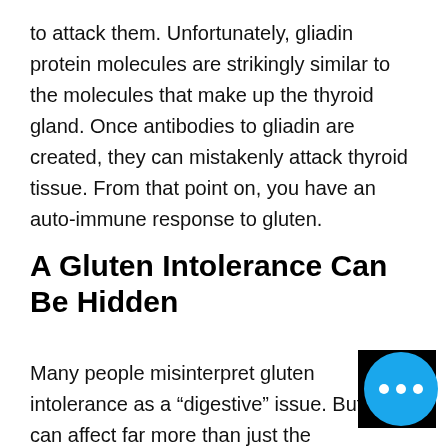to attack them. Unfortunately, gliadin protein molecules are strikingly similar to the molecules that make up the thyroid gland. Once antibodies to gliadin are created, they can mistakenly attack thyroid tissue. From that point on, you have an auto-immune response to gluten.
A Gluten Intolerance Can Be Hidden
Many people misinterpret gluten intolerance as a “digestive” issue. But it can affect far more than just the digestive system. Antibodies triggered by this kind of gluten intolerance travel throughout the whole body: the joints